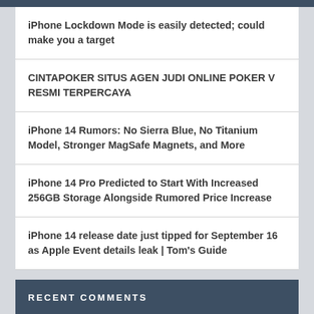iPhone Lockdown Mode is easily detected; could make you a target
CINTAPOKER SITUS AGEN JUDI ONLINE POKER V RESMI TERPERCAYA
iPhone 14 Rumors: No Sierra Blue, No Titanium Model, Stronger MagSafe Magnets, and More
iPhone 14 Pro Predicted to Start With Increased 256GB Storage Alongside Rumored Price Increase
iPhone 14 release date just tipped for September 16 as Apple Event details leak | Tom's Guide
RECENT COMMENTS